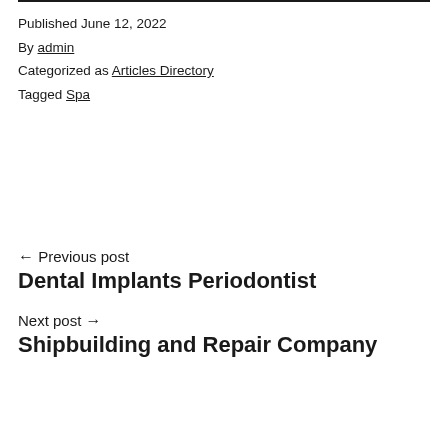Published June 12, 2022
By admin
Categorized as Articles Directory
Tagged Spa
← Previous post
Dental Implants Periodontist
Next post →
Shipbuilding and Repair Company